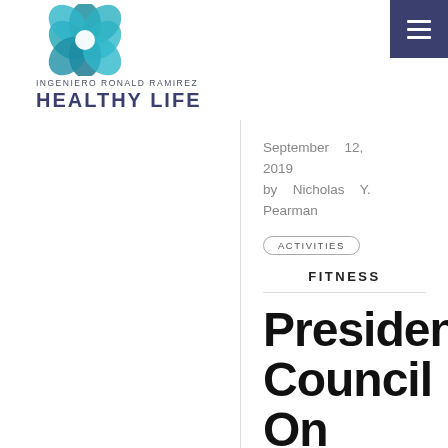[Figure (logo): Ingeniero Ronald Ramirez Healthy Life logo with teal flower graphic and text]
September 12, 2019
by Nicholas Y. Pearman
ACTIVITIES
FITNESS
Presiden
Council
On